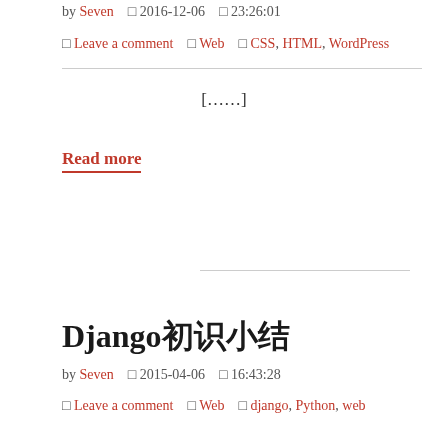by Seven  □ 2016-12-06  □ 23:26:01
□ Leave a comment  □ Web  □ CSS, HTML, WordPress
[……]
Read more
Django初识小结
by Seven  □ 2015-04-06  □ 16:43:28
□ Leave a comment  □ Web  □ django, Python, web